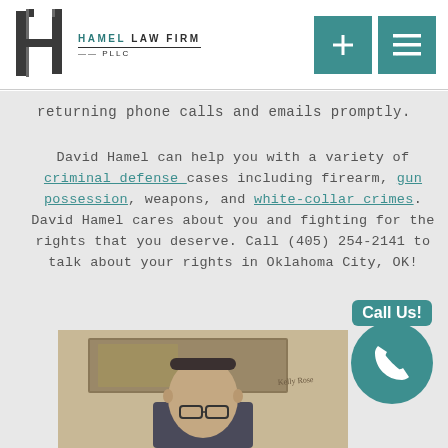Hamel Law Firm PLLC — logo and navigation buttons
returning phone calls and emails promptly.
David Hamel can help you with a variety of criminal defense cases including firearm, gun possession, weapons, and white-collar crimes. David Hamel cares about you and fighting for the rights that you deserve. Call (405) 254-2141 to talk about your rights in Oklahoma City, OK!
[Figure (photo): Call Us button with teal phone icon circle]
[Figure (photo): Photo of David Hamel, attorney, with painting in background]